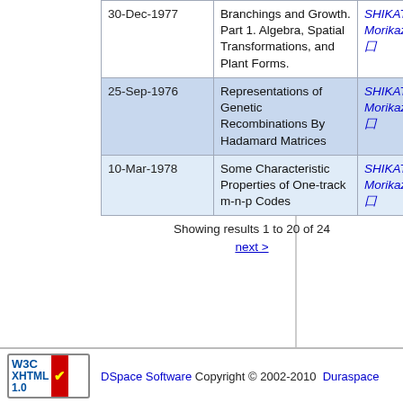| Date | Title | Author |
| --- | --- | --- |
| 30-Dec-1977 | Branchings and Growth. Part 1. Algebra, Spatial Transformations, and Plant Forms. | SHIKATA, Morikazu; 口,囗 |
| 25-Sep-1976 | Representations of Genetic Recombinations By Hadamard Matrices | SHIKATA, Morikazu; 口,囗 |
| 10-Mar-1978 | Some Characteristic Properties of One-track m-n-p Codes | SHIKATA, Morikazu; 口,囗 |
Showing results 1 to 20 of 24
next >
W3C XHTML 1.0 | DSpace Software Copyright © 2002-2010 Duraspace